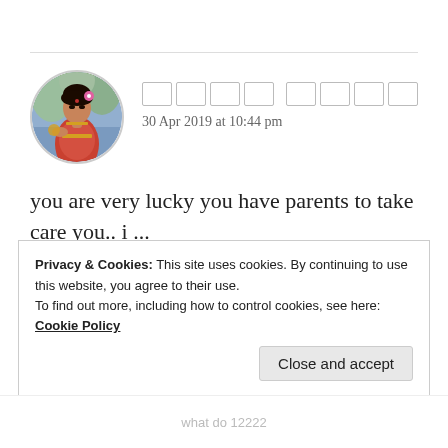[Figure (photo): Circular avatar image of a woman dressed in traditional Indian attire with colorful clothing and ornaments]
□□□□ □□□□
30 Apr 2019 at 10:44 pm
you are very lucky you have parents to take care you.. i ...
★ Like
Privacy & Cookies: This site uses cookies. By continuing to use this website, you agree to their use.
To find out more, including how to control cookies, see here: Cookie Policy
Close and accept